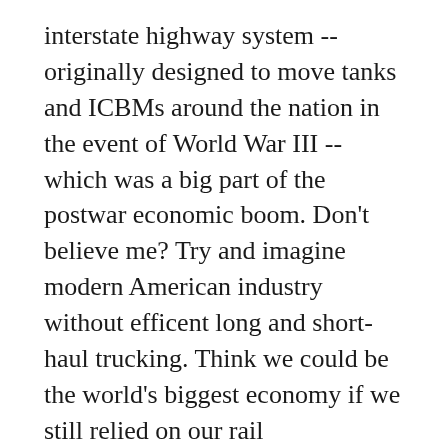interstate highway system -- originally designed to move tanks and ICBMs around the nation in the event of World War III -- which was a big part of the postwar economic boom. Don't believe me? Try and imagine modern American industry without efficent long and short-haul trucking. Think we could be the world's biggest economy if we still relied on our rail infrastructure? Think again. The non-profit operation of well-maintained (read: expensive) roads and highways allows enormous amounts of economic activity.
Likewise, the founding technology that allows you to read these words was authorized and